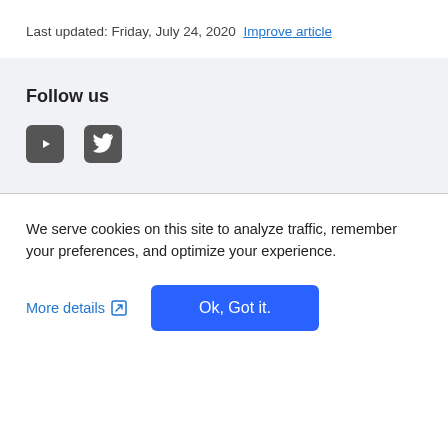Last updated: Friday, July 24, 2020  Improve article
Follow us
[Figure (illustration): YouTube and Twitter social media icons as rounded square buttons]
We serve cookies on this site to analyze traffic, remember your preferences, and optimize your experience.
More details  Ok, Got it.